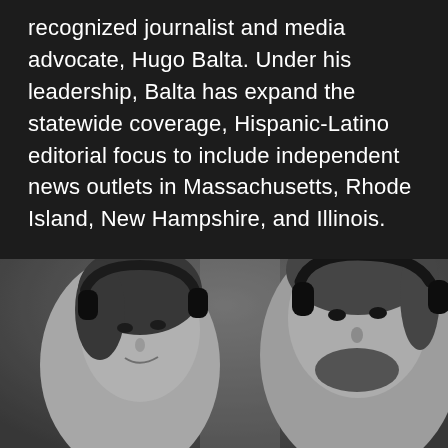recognized journalist and media advocate, Hugo Balta. Under his leadership, Balta has expand the statewide coverage, Hispanic-Latino editorial focus to include independent news outlets in Massachusetts, Rhode Island, New Hampshire, and Illinois.
[Figure (photo): Black and white photo of two people wearing headphones, appearing to be in a radio or podcast studio setting. A woman is on the left and a man with a beard is on the right, both smiling.]